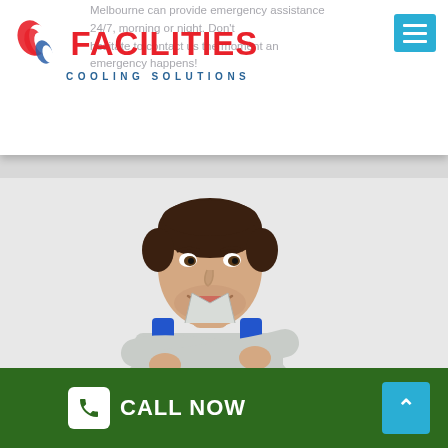[Figure (logo): Facilities Cooling Solutions logo with red text FACILITIES and blue text COOLING SOLUTIONS, with a stylized icon on the left]
Melbourne can provide emergency assistance 24/7, morning or night. Don't hesitate to contact us the moment an emergency happens!
[Figure (photo): Smiling male technician in blue overalls with arms crossed, looking up to the right, on a light grey background]
CALL NOW